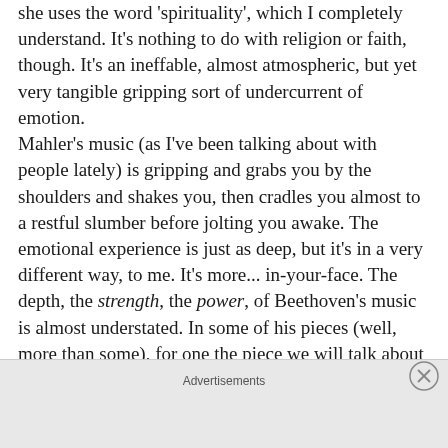she uses the word 'spirituality', which I completely understand. It's nothing to do with religion or faith, though. It's an ineffable, almost atmospheric, but yet very tangible gripping sort of undercurrent of emotion. Mahler's music (as I've been talking about with people lately) is gripping and grabs you by the shoulders and shakes you, then cradles you almost to a restful slumber before jolting you awake. The emotional experience is just as deep, but it's in a very different way, to me. It's more... in-your-face. The depth, the strength, the power, of Beethoven's music is almost understated. In some of his pieces (well, more than some), for one the piece we will talk about on Thursday, there are those shocking, jarring moments, and they especially would have
Advertisements